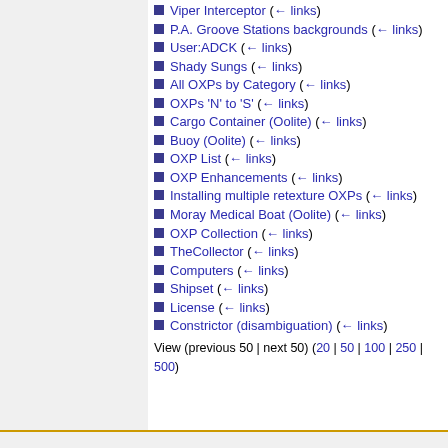Viper Interceptor  (← links)
P.A. Groove Stations backgrounds  (← links)
User:ADCK  (← links)
Shady Sungs  (← links)
All OXPs by Category  (← links)
OXPs 'N' to 'S'  (← links)
Cargo Container (Oolite)  (← links)
Buoy (Oolite)  (← links)
OXP List  (← links)
OXP Enhancements  (← links)
Installing multiple retexture OXPs  (← links)
Moray Medical Boat (Oolite)  (← links)
OXP Collection  (← links)
TheCollector  (← links)
Computers  (← links)
Shipset  (← links)
License  (← links)
Constrictor (disambiguation)  (← links)
View (previous 50 | next 50) (20 | 50 | 100 | 250 | 500)